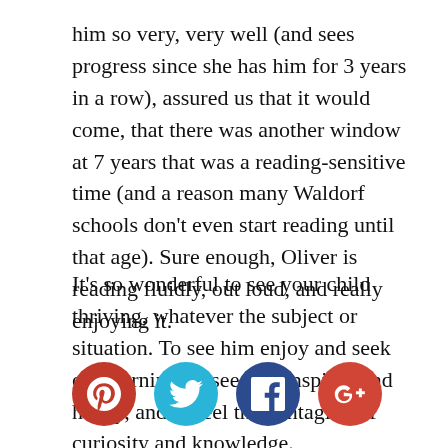him so very, very well (and sees progress since she has him for 3 years in a row), assured us that it would come, that there was another window at 7 years that was a reading-sensitive time (and a reason many Waldorf schools don't even start reading until that age). Sure enough, Oliver is reading fluidly, out loud, and really enjoying it.
It's so wonderful to see your child thriving, whatever the subject or situation. To see him enjoy and seek out learning, to see him inspired and happy, and to feel the contagion of curiosity and knowledge.
[Figure (infographic): Social media share icons: Pinterest (red), Twitter (cyan), Facebook (dark blue), Google+ (red-orange)]